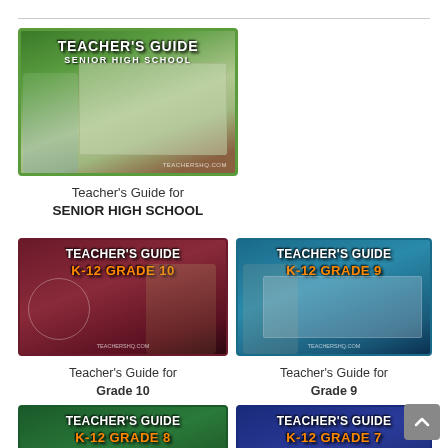[Figure (illustration): Teacher's Guide Senior High School thumbnail - animated teacher pointing at chalkboard, green border, TEACHERSHQ.COM watermark]
Teacher's Guide for
SENIOR HIGH SCHOOL
[Figure (illustration): Teacher's Guide K-12 Grade 10 thumbnail - animated teacher with lightbulb on dark red chalkboard background, TEACHERSHQ.COM watermark]
Teacher's Guide for
Grade 10
[Figure (illustration): Teacher's Guide K-12 Grade 9 thumbnail - Einstein-like figure at chalkboard with teal background, TEACHERSHQ.COM watermark]
Teacher's Guide for
Grade 9
[Figure (illustration): Teacher's Guide K-12 Grade 8 thumbnail - female teacher on green background]
[Figure (illustration): Teacher's Guide K-12 Grade 7 thumbnail - figures on blue background]